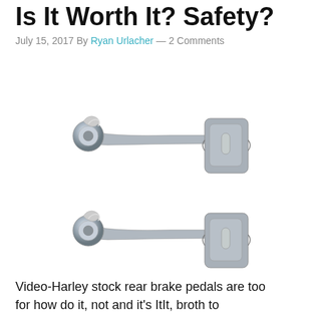Is It Worth It? Safety?
July 15, 2017 By Ryan Urlacher — 2 Comments
[Figure (photo): Two chrome and gray motorcycle rear brake pedal arms side by side on white background]
Video-Harley stock rear brake pedals are too for how do it, not and it's ItIt, broth to